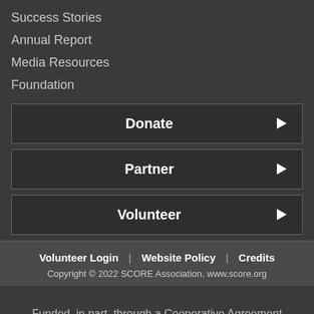Success Stories
Annual Report
Media Resources
Foundation
Donate ▶
Partner ▶
Volunteer ▶
Volunteer Login | Website Policy | Credits
Copyright © 2022 SCORE Association, www.score.org
Funded, in part, through a Cooperative Agreement with the U.S. Small Business Administration. All